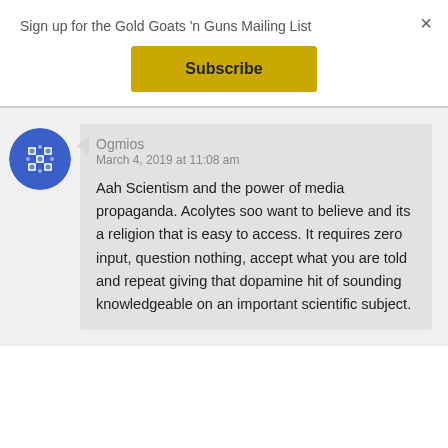Sign up for the Gold Goats 'n Guns Mailing List
×
Subscribe
Ogmios
March 4, 2019 at 11:08 am
Aah Scientism and the power of media propaganda. Acolytes soo want to believe and its a religion that is easy to access. It requires zero input, question nothing, accept what you are told and repeat giving that dopamine hit of sounding knowledgeable on an important scientific subject.